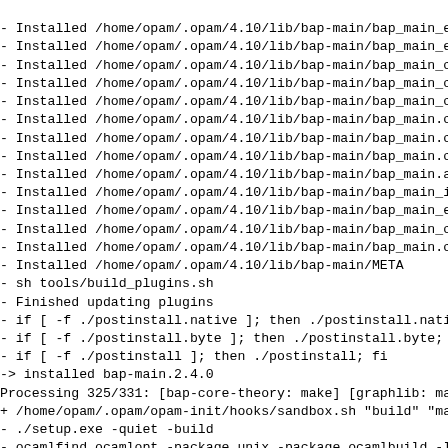- Installed /home/opam/.opam/4.10/lib/bap-main/bap_main_e
- Installed /home/opam/.opam/4.10/lib/bap-main/bap_main_e
- Installed /home/opam/.opam/4.10/lib/bap-main/bap_main_c
- Installed /home/opam/.opam/4.10/lib/bap-main/bap_main_c
- Installed /home/opam/.opam/4.10/lib/bap-main/bap_main_c
- Installed /home/opam/.opam/4.10/lib/bap-main/bap_main.c
- Installed /home/opam/.opam/4.10/lib/bap-main/bap_main.c
- Installed /home/opam/.opam/4.10/lib/bap-main/bap_main.c
- Installed /home/opam/.opam/4.10/lib/bap-main/bap_main.a
- Installed /home/opam/.opam/4.10/lib/bap-main/bap_main_i
- Installed /home/opam/.opam/4.10/lib/bap-main/bap_main_e
- Installed /home/opam/.opam/4.10/lib/bap-main/bap_main_c
- Installed /home/opam/.opam/4.10/lib/bap-main/bap_main.c
- Installed /home/opam/.opam/4.10/lib/bap-main/META
- sh tools/build_plugins.sh
- Finished updating plugins
- if [ -f ./postinstall.native ]; then ./postinstall.nati
- if [ -f ./postinstall.byte ]; then ./postinstall.byte;
- if [ -f ./postinstall ]; then ./postinstall; fi
-> installed bap-main.2.4.0
Processing 325/331: [bap-core-theory: make] [graphlib: ma
+ /home/opam/.opam/opam-init/hooks/sandbox.sh "build" "ma
- ./setup.exe -quiet -build
- ocamlfind ocamlopt -package unix -package ocamlbuild -l
- /home/opam/.opam/4.10/bin/ocamlfind ocamldep -modules f
- /home/opam/.opam/4.10/bin/ocamlfind ocamlc -c -g -annot
- /home/opam/.opam/4.10/bin/ocamlfind ocamlopt -c -g -ann
- /home/opam/.opam/4.10/bin/ocamlfind ocamlopt -linkpkg -
- /home/opam/.opam/4.10/bin/ocamlfind ocamldep -package p
- /home/opam/.opam/4.10/bin/ocamlfind ocamlc -c -g -annot